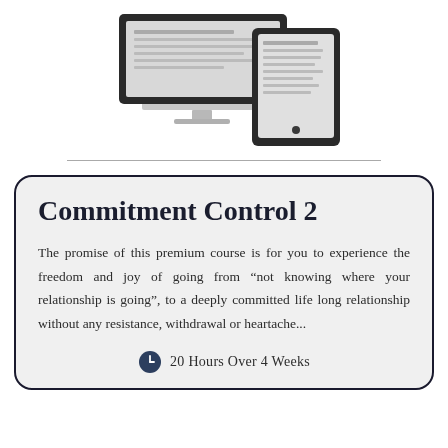[Figure (illustration): Illustration of a desktop computer monitor and a tablet device showing document/course content]
Commitment Control 2
The promise of this premium course is for you to experience the freedom and joy of going from “not knowing where your relationship is going”, to a deeply committed life long relationship without any resistance, withdrawal or heartache...
20 Hours Over 4 Weeks